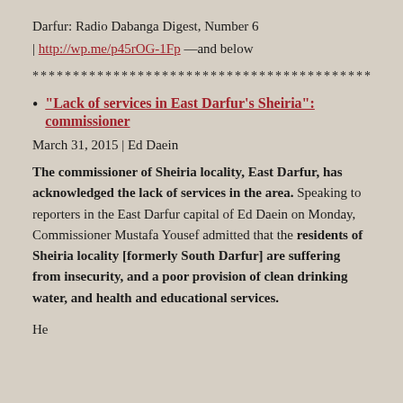Darfur: Radio Dabanga Digest, Number 6
| http://wp.me/p45rOG-1Fp —and below
******************************************
“Lack of services in East Darfur’s Sheiria”: commissioner
March 31, 2015 | Ed Daein
The commissioner of Sheiria locality, East Darfur, has acknowledged the lack of services in the area. Speaking to reporters in the East Darfur capital of Ed Daein on Monday, Commissioner Mustafa Yousef admitted that the residents of Sheiria locality [formerly South Darfur] are suffering from insecurity, and a poor provision of clean drinking water, and health and educational services.
He...